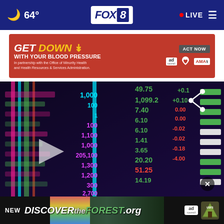🌙 64° | FOX 8 | • LIVE ≡
[Figure (screenshot): Red advertisement banner: GET DOWN WITH YOUR BLOOD PRESSURE – ACT NOW – In partnership with the Office of Minority Health and Health Resources & Services Administration. Logos: Ad Council, American Heart Association, AMA.]
[Figure (photo): Stock market ticker board showing colorful numbers: 49.75, 1,099.2, 7.40, 6.10, 6.10, 1.41, 3.65, 20.20, 51.25, 14.19, 2,700 and quantity columns with 100, 1, 100, 1,100, 1,000, 205,100, 1,300, 1,200, 300, 2,700. Green, red, magenta, and cyan colored digits on dark blue/purple background. Share icon top right. Play button overlay left center. Close X button bottom right.]
[Figure (screenshot): Bottom ad banner: NEW | DISCOVERtheFOREST.org | Ad Council logo | US Forest Service shield badge]